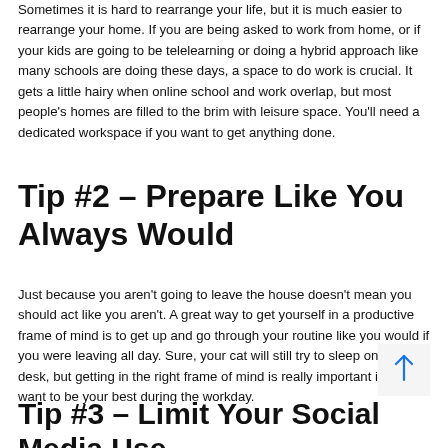Sometimes it is hard to rearrange your life, but it is much easier to rearrange your home. If you are being asked to work from home, or if your kids are going to be telelearning or doing a hybrid approach like many schools are doing these days, a space to do work is crucial. It gets a little hairy when online school and work overlap, but most people's homes are filled to the brim with leisure space. You'll need a dedicated workspace if you want to get anything done.
Tip #2 – Prepare Like You Always Would
Just because you aren't going to leave the house doesn't mean you should act like you aren't. A great way to get yourself in a productive frame of mind is to get up and go through your routine like you would if you were leaving all day. Sure, your cat will still try to sleep on your desk, but getting in the right frame of mind is really important if you want to be your best during the workday.
Tip #3 – Limit Your Social Media Use